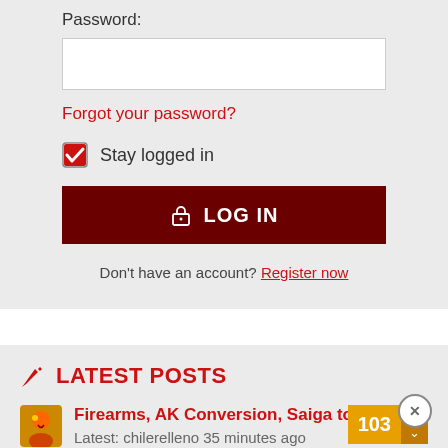Password:
Forgot your password?
Stay logged in
LOG IN
Don't have an account? Register now
LATEST POSTS
Firearms, AK Conversion, Saiga to 103
Latest: chilerelleno 35 minutes ago
Blowing Smoke Around the Smoker
22" Kettle Spares, Snake Method